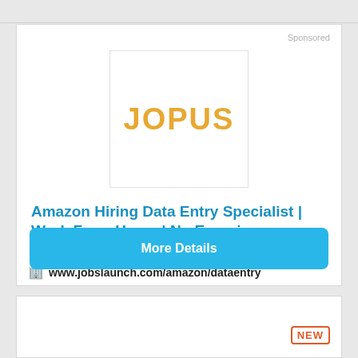[Figure (logo): JOPUS company logo — bold orange text on white background inside a bordered square box]
Sponsored
Amazon Hiring Data Entry Specialist | Work From Home | No Experience Needed
🏢 www.jobslaunch.com/amazon/dataentry
Apply Now. Applications Close At Midnight, And We Will Start Conducting Interviews!
More Details
NEW